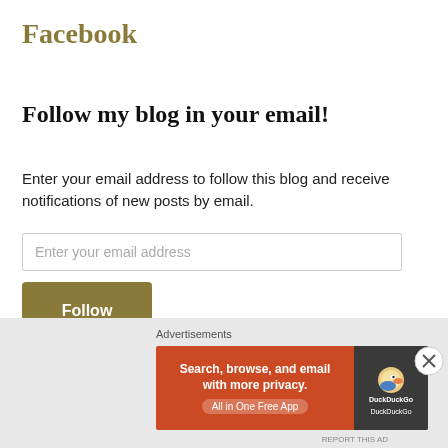Facebook
Follow my blog in your email!
Enter your email address to follow this blog and receive notifications of new posts by email.
Enter your email address
Follow
Join 102 other followers
Instagram
Advertisements
[Figure (screenshot): DuckDuckGo advertisement banner: 'Search, browse, and email with more privacy. All in One Free App' with DuckDuckGo logo on dark background]